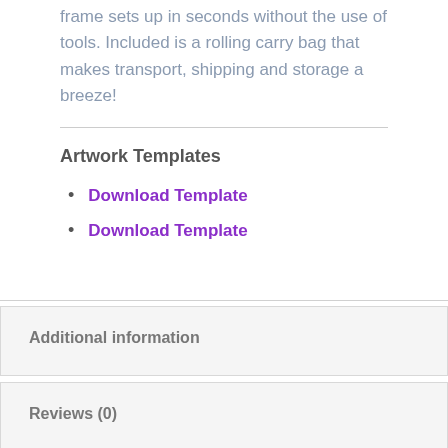frame sets up in seconds without the use of tools. Included is a rolling carry bag that makes transport, shipping and storage a breeze!
Artwork Templates
Download Template
Download Template
Additional information
Reviews (0)